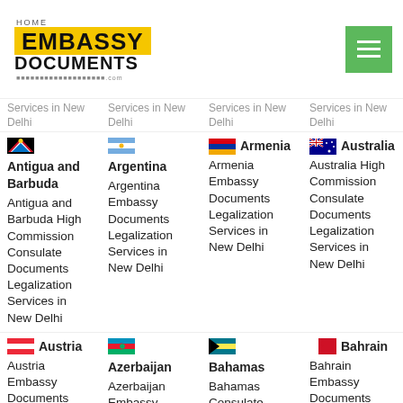HOME EMBASSY DOCUMENTS
Services in New Delhi (row 1, col 1)
Services in New Delhi (row 1, col 2)
Services in New Delhi (row 1, col 3)
Services in New Delhi (row 1, col 4)
Antigua and Barbuda - Antigua and Barbuda High Commission Consulate Documents Legalization Services in New Delhi
Argentina - Argentina Embassy Documents Legalization Services in New Delhi
Armenia - Armenia Embassy Documents Legalization Services in New Delhi
Australia - Australia High Commission Consulate Documents Legalization Services in New Delhi
Austria - Austria Embassy Documents Legalization Services in New Delhi
Azerbaijan - Azerbaijan Embassy Documents Legalization Services in New Delhi
Bahamas - Bahamas Consulate Documents Legalization Services in New Delhi
Bahrain - Bahrain Embassy Documents Legalization Services in New Delhi